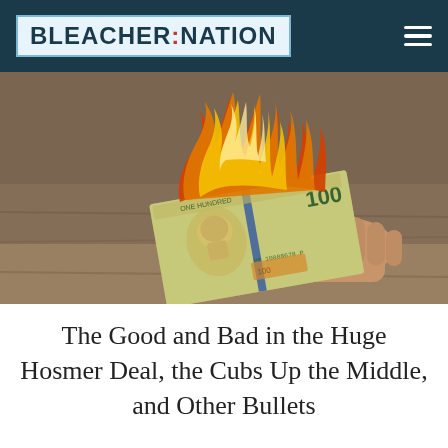BLEACHER:NATION
[Figure (photo): A hand holding a burning $100 bill, with orange and yellow flames consuming the top portion of the bill. The bill shows Benjamin Franklin's portrait and the serial number PR 10008678P. The background is a blurred brown surface.]
The Good and Bad in the Huge Hosmer Deal, the Cubs Up the Middle, and Other Bullets